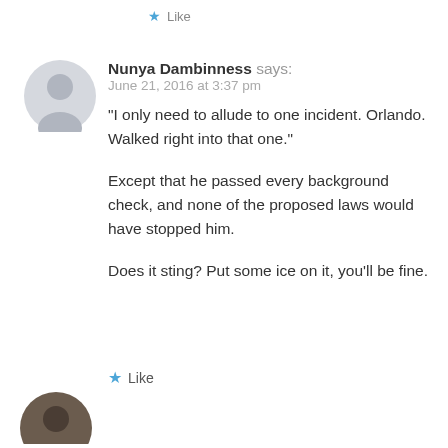Like
Nunya Dambinness says:
June 21, 2016 at 3:37 pm
"I only need to allude to one incident. Orlando. Walked right into that one."

Except that he passed every background check, and none of the proposed laws would have stopped him.

Does it sting? Put some ice on it, you'll be fine.
Like